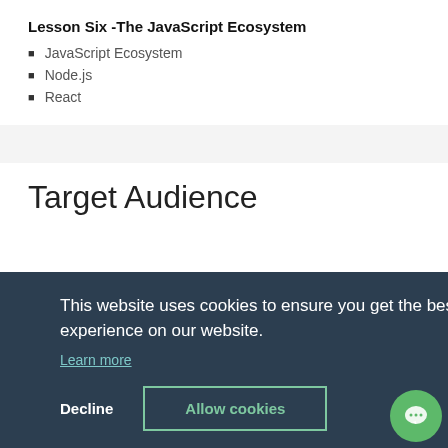Lesson Six -The JavaScript Ecosystem
JavaScript Ecosystem
Node.js
React
Target Audience
[Figure (screenshot): Cookie consent overlay banner with dark blue background. Text: 'This website uses cookies to ensure you get the best experience on our website.' with a 'Learn more' link, and two buttons: 'Decline' and 'Allow cookies'. A green chat bubble icon appears in the bottom right corner.]